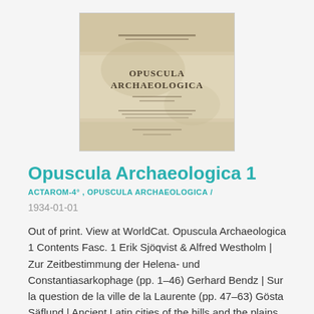[Figure (photo): Scanned cover page of 'Opuscula Archaeologica' book with aged beige/tan paper showing the title text in the center]
Opuscula Archaeologica 1
ACTAROM-4° , OPUSCULA ARCHAEOLOGICA / 1934-01-01
Out of print. View at WorldCat. Opuscula Archaeologica 1 Contents Fasc. 1 Erik Sjöqvist & Alfred Westholm | Zur Zeitbestimmung der Helena- und Constantiasarkophage (pp. 1–46) Gerhard Bendz | Sur la question de la ville de la Laurente (pp. 47–63) Gösta Säflund | Ancient Latin cities of the hills and the plains, a study in